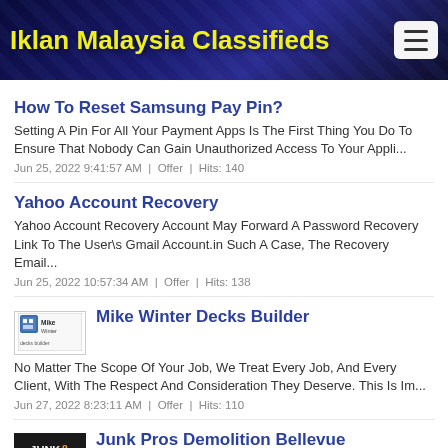Iklan Malaysia Classifieds
How To Reset Samsung Pay Pin?
Setting A Pin For All Your Payment Apps Is The First Thing You Do To Ensure That Nobody Can Gain Unauthorized Access To Your Appli...
Jun 25, 2022 9:41:57 AM  |  Offer  |  Hits: 140
Yahoo Account Recovery
Yahoo Account Recovery Account May Forward A Password Recovery Link To The User\s Gmail Account.in Such A Case, The Recovery Email...
Jun 25, 2022 10:57:34 AM  |  Offer  |  Hits: 138
Mike Winter Decks Builder
No Matter The Scope Of Your Job, We Treat Every Job, And Every Client, With The Respect And Consideration They Deserve. This Is Im...
Jun 27, 2022 8:23:11 AM  |  Offer  |  Hits: 110
Junk Pros Demolition Bellevue
Junk Demolition Pros Llc Provides Simple To Use Online